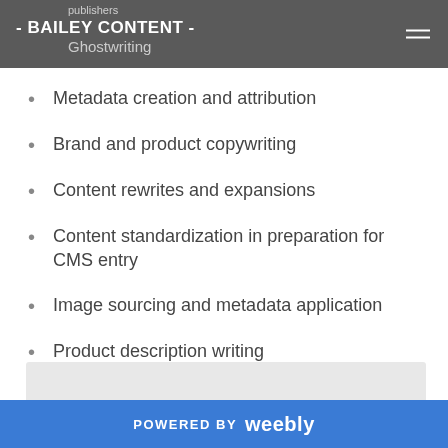- BAILEY CONTENT -
publishers
Ghostwriting
Metadata creation and attribution
Brand and product copywriting
Content rewrites and expansions
Content standardization in preparation for CMS entry
Image sourcing and metadata application
Product description writing
Website GUI testing
POWERED BY weebly